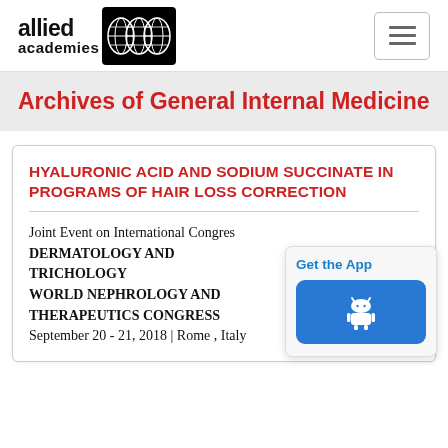[Figure (logo): Allied Academies logo with globe graphic and text 'allied academies']
Archives of General Internal Medicine
HYALURONIC ACID AND SODIUM SUCCINATE IN PROGRAMS OF HAIR LOSS CORRECTION
Joint Event on International Congress DERMATOLOGY AND TRICHOLOGY WORLD NEPHROLOGY AND THERAPEUTICS CONGRESS September 20 - 21, 2018 | Rome , Italy